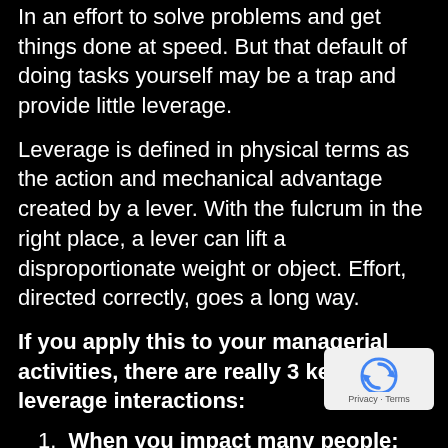In an effort to solve problems and get things done at speed. But that default of doing tasks yourself may be a trap and provide little leverage.
Leverage is defined in physical terms as the action and mechanical advantage created by a lever. With the fulcrum in the right place, a lever can lift a disproportionate weight or object. Effort, directed correctly, goes a long way.
If you apply this to your managerial activities, there are really 3 key high leverage interactions:
When you impact many people: when